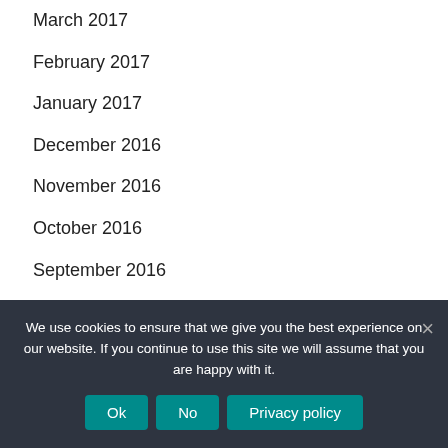March 2017
February 2017
January 2017
December 2016
November 2016
October 2016
September 2016
August 2016
July 2016
June 2016
May 2016
We use cookies to ensure that we give you the best experience on our website. If you continue to use this site we will assume that you are happy with it.